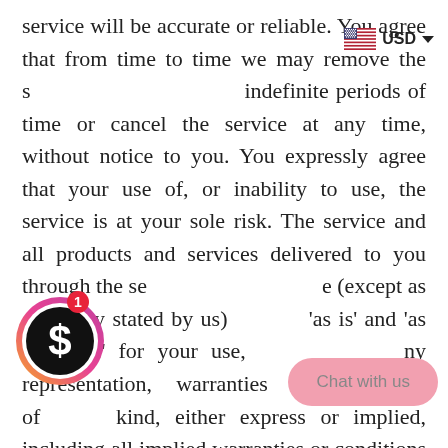service will be accurate or reliable. You agree that from time to time we may remove the service for indefinite periods of time or cancel the service at any time, without notice to you. You expressly agree that your use of, or inability to use, the service is at your sole risk. The service and all products and services delivered to you through the service (except as expressly stated by us) are provided 'as is' and 'as available' for your use, without any representation, warranties or conditions of any kind, either express or implied, including all implied warranties or conditions of merchantability, merchantable quality, fitness for a particular purpose, durability, title, and non-infringement. In no case shall The Cosmetics Fridge, our directors, officers, employees, affiliates, agents, contractors, interns, suppliers, service providers or licensors be liable for any...
[Figure (infographic): Dollar sign icon in black circle with orange/pink gradient ring, showing notification badge with number 1]
[Figure (infographic): US flag icon with USD text and dropdown arrow - currency selector]
[Figure (infographic): Pink Chat with us pill button overlay]